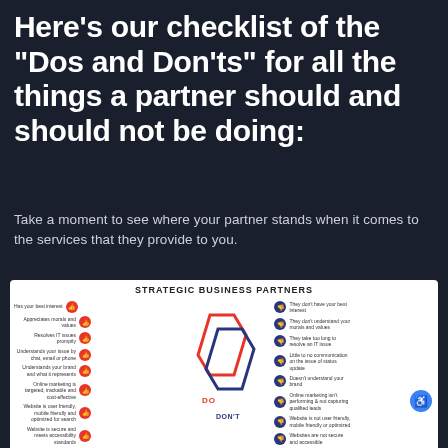Here’s our checklist of the “Dos and Don’ts” for all the things a partner should and should not be doing:
Take a moment to see where your partner stands when it comes to the services that they provide to you.
[Figure (infographic): Strategic Business Partners infographic showing a DO (red hexagon) and DON'T (blue hexagon) checklist with items on left (red thumbs-up dots) and right (blue thumbs-down dots). Left items: Has your best interest, Appreciates morals and values, Resolves IT issues promptly, Understands your issue by chat, email or phone, Understands your brand and what it represents, Online marketing is targeted, trackable and cost-effective, Website is user friendly, mobile friendly and optimized for search, Website is secure and meets accessibility standards. Right items: They don't have your best interest, They don't understand your morals and values, They take too long to resolve an IT issue, Little to no communication on the issue of status update, Doesn't understand your brand, Online marketing isn't performing and not capturing qualified leads, Website is not user friendly, mobile friendly or optimized, Websites are not secure and accessible.]